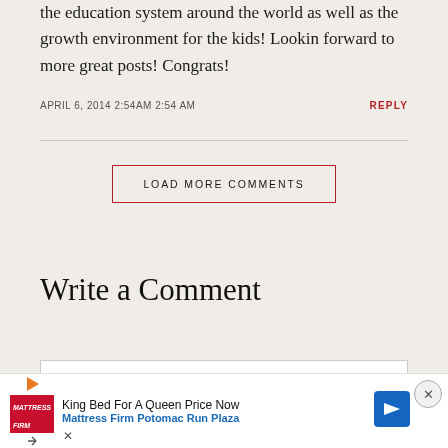the education system around the world as well as the growth environment for the kids! Lookin forward to more great posts! Congrats!
APRIL 6, 2014 2:54AM 2:54 AM
REPLY
LOAD MORE COMMENTS
Write a Comment
[Figure (other): Advertisement banner: King Bed For A Queen Price Now - Mattress Firm Potomac Run Plaza, with Mattress Firm logo, play button, navigation arrow icon, and close (X) button]